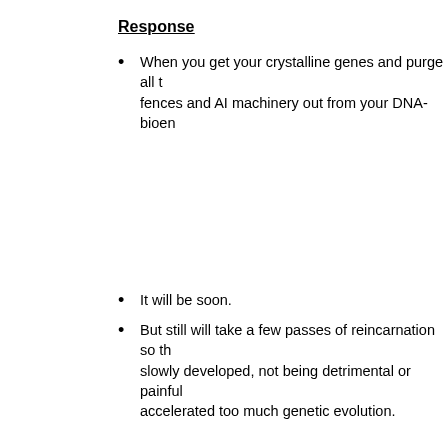Response
When you get your crystalline genes and purge all the fences and AI machinery out from your DNA-bioe...
It will be soon.
But still will take a few passes of reincarnation so th... slowly developed, not being detrimental or painful ... accelerated too much genetic evolution.